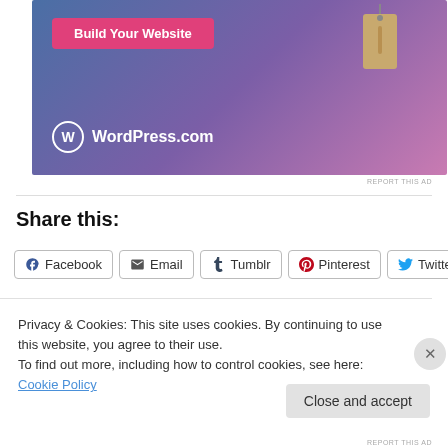[Figure (illustration): WordPress.com advertisement banner with blue-purple gradient background, a 'Build Your Website' pink button, a hanging price tag graphic, and the WordPress.com logo at the bottom left.]
REPORT THIS AD
Share this:
Facebook Email Tumblr Pinterest Twitter
Privacy & Cookies: This site uses cookies. By continuing to use this website, you agree to their use.
To find out more, including how to control cookies, see here: Cookie Policy
Close and accept